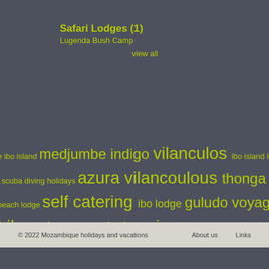Safari Lodges (1)
Lugenda Bush Camp
view all
e ibo island medjumbe indigo vilanculos ibo island lodge i scuba diving holidays azura vilancoulous thonga aquatico beach lodge self catering ibo lodge guludo voyager barra bilene bazaruto lodge niassa
© 2022 Mozambique holidays and vacations   About us   Links